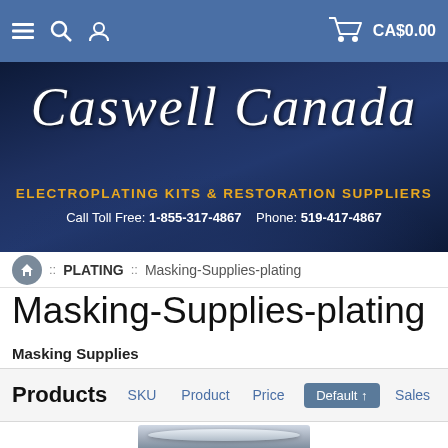[Figure (screenshot): Navigation bar with hamburger menu, search icon, user icon on left; shopping cart icon and CA$0.00 text on right, blue background]
[Figure (photo): Caswell Canada banner with cursive logo text, subtitle 'Electroplating Kits & Restoration Suppliers', toll free and phone numbers on dark blue car background]
:: PLATING :: Masking-Supplies-plating
Masking-Supplies-plating
Masking Supplies
| Products | SKU | Product | Price | Default ↑ | Sales |
| --- | --- | --- | --- | --- | --- |